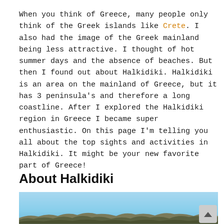When you think of Greece, many people only think of the Greek islands like Crete. I also had the image of the Greek mainland being less attractive. I thought of hot summer days and the absence of beaches. But then I found out about Halkidiki. Halkidiki is an area on the mainland of Greece, but it has 3 peninsula's and therefore a long coastline. After I explored the Halkidiki region in Greece I became super enthusiastic. On this page I'm telling you all about the top sights and activities in Halkidiki. It might be your new favorite part of Greece!
About Halkidiki
[Figure (photo): Outdoor scenic photo showing a blue sky above rocky terrain with sparse vegetation, partially visible — cropped at page bottom.]